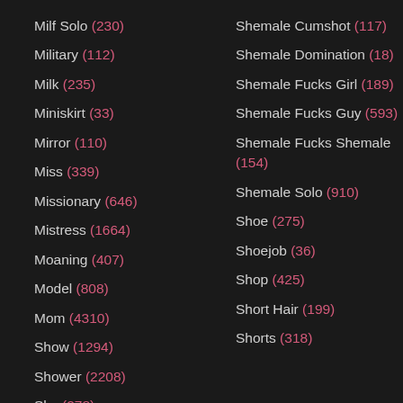Milf Solo (230)
Military (112)
Milk (235)
Miniskirt (33)
Mirror (110)
Miss (339)
Missionary (646)
Mistress (1664)
Moaning (407)
Model (808)
Mom (4310)
Show (1294)
Shower (2208)
Shy (278)
Silicone Tits (40)
Shemale Cumshot (117)
Shemale Domination (18)
Shemale Fucks Girl (189)
Shemale Fucks Guy (593)
Shemale Fucks Shemale (154)
Shemale Solo (910)
Shoe (275)
Shoejob (36)
Shop (425)
Short Hair (199)
Shorts (318)